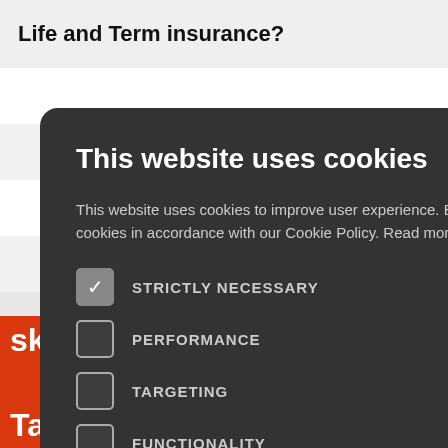Life and Term insurance?
[Figure (screenshot): Cookie consent modal dialog over an insurance website. Modal has dark background with title 'This website uses cookies', body text, cookie category checkboxes (Strictly Necessary checked, Performance, Targeting, Functionality, Unclassified unchecked), Accept All and Decline All buttons, and Show Details option. Behind the modal: partial text 'ritical', 'erty or', Contact Us vertical tab in orange, red/orange bottom banner with 'sk Taker?' and 'Take our quiz to understand your'.]
This website uses cookies
This website uses cookies to improve user experience. By using our website you consent to all cookies in accordance with our Cookie Policy. Read more
STRICTLY NECESSARY
PERFORMANCE
TARGETING
FUNCTIONALITY
UNCLASSIFIED
ACCEPT ALL
DECLINE ALL
SHOW DETAILS